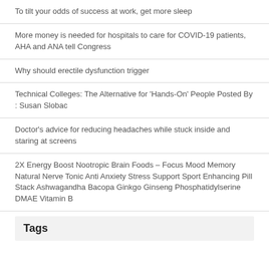To tilt your odds of success at work, get more sleep
More money is needed for hospitals to care for COVID-19 patients, AHA and ANA tell Congress
Why should erectile dysfunction trigger
Technical Colleges: The Alternative for 'Hands-On' People Posted By : Susan Slobac
Doctor's advice for reducing headaches while stuck inside and staring at screens
2X Energy Boost Nootropic Brain Foods – Focus Mood Memory Natural Nerve Tonic Anti Anxiety Stress Support Sport Enhancing Pill Stack Ashwagandha Bacopa Ginkgo Ginseng Phosphatidylserine DMAE Vitamin B
Tags